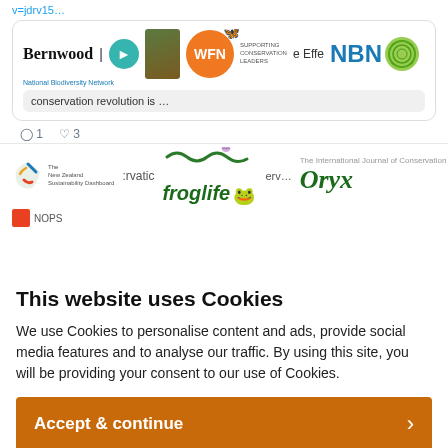[Figure (screenshot): Screenshot of a Twitter/social media feed showing conservation organization logos including Bernwood, WFN (Wildlife and Flora Network), NBN (National Biodiversity Network), Froglife, and Oryx. A tweet with text 'conservation revolution is ...' is visible, along with like/comment icons. A second row shows NZ Sustainability Dashboard and other conservation logos.]
This website uses Cookies
We use Cookies to personalise content and ads, provide social media features and to analyse our traffic. By using this site, you will be providing your consent to our use of Cookies.
Accept & continue